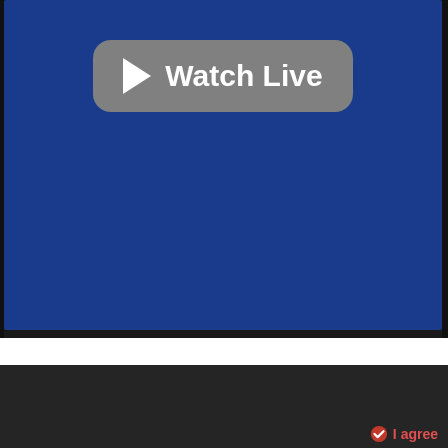[Figure (screenshot): Blue video player area with a gray 'Watch Live' button featuring a play triangle icon]
LIVE IRIB Kermanshah - Iran Live TV
We use cookies to ensure that we give you the best user experience, personalised ads, provide social features and to analyse our site usage. By continuing to use this site, closing this banner, or clicking "I Agree", you agree to the use of cookies. However, you can change your cookie settings at any time. Learn more
I agree